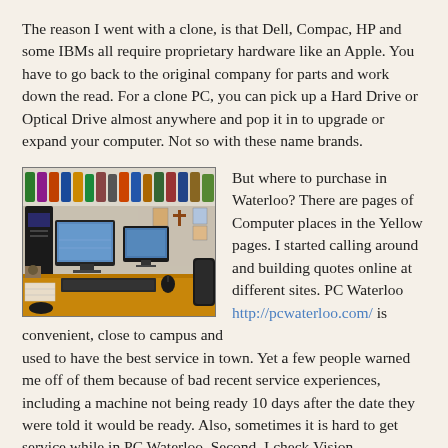The reason I went with a clone, is that Dell, Compac, HP and some IBMs all require proprietary hardware like an Apple. You have to go back to the original company for parts and work down the read. For a clone PC, you can pick up a Hard Drive or Optical Drive almost anywhere and pop it in to upgrade or expand your computer. Not so with these name brands.
[Figure (photo): Photo of a computer desk setup with a tower PC, two monitors, keyboard, mouse, and various items on a wooden desk. Shelves with colored items visible in the background.]
But where to purchase in Waterloo? There are pages of Computer places in the Yellow pages. I started calling around and building quotes online at different sites. PC Waterloo http://pcwaterloo.com/ is convenient, close to campus and used to have the best service in town. Yet a few people warned me off of them because of bad recent service experiences, including a machine not being ready 10 days after the date they were told it would be ready. Also, sometimes it is hard to get service while in PC Waterloo. Second, I check Vision Computers, http://visioncomputersystems.com/ at Philip and Columbia. It is